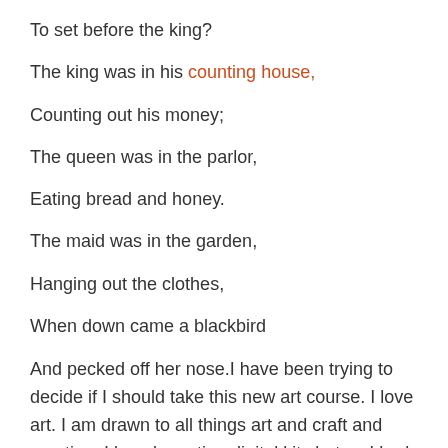To set before the king?
The king was in his counting house,
Counting out his money;
The queen was in the parlor,
Eating bread and honey.
The maid was in the garden,
Hanging out the clothes,
When down came a blackbird
And pecked off her nose.I have been trying to decide if I should take this new art course. I love art. I am drawn to all things art and craft and creating. I loved creating digital kits but as I had more babies, I had less time. With 2 of them in school all day now, I find